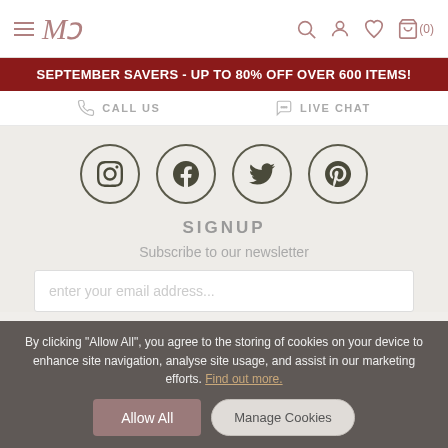Navigation header with hamburger menu, logo (MT), search, account, wishlist, and basket (0) icons
SEPTEMBER SAVERS - UP TO 80% OFF OVER 600 ITEMS!
CALL US   LIVE CHAT
[Figure (other): Four social media icons in circles: Instagram, Facebook, Twitter, Pinterest]
SIGNUP
Subscribe to our newsletter
enter your email address...
By clicking "Allow All", you agree to the storing of cookies on your device to enhance site navigation, analyse site usage, and assist in our marketing efforts. Find out more.
Allow All
Manage Cookies